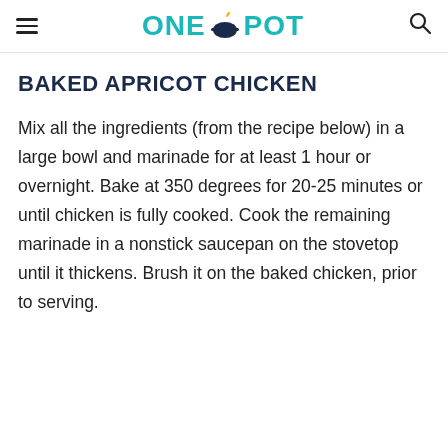ONE POT
BAKED APRICOT CHICKEN
Mix all the ingredients (from the recipe below) in a large bowl and marinade for at least 1 hour or overnight. Bake at 350 degrees for 20-25 minutes or until chicken is fully cooked. Cook the remaining marinade in a nonstick saucepan on the stovetop until it thickens. Brush it on the baked chicken, prior to serving.